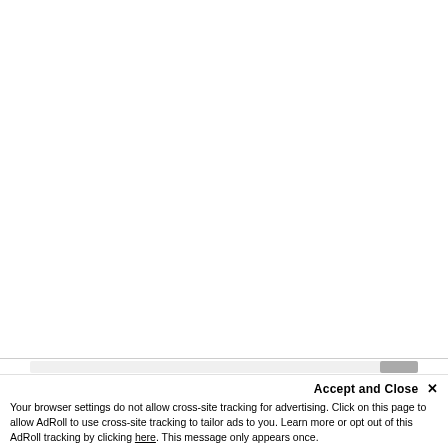Accept and Close ✕
Your browser settings do not allow cross-site tracking for advertising. Click on this page to allow AdRoll to use cross-site tracking to tailor ads to you. Learn more or opt out of this AdRoll tracking by clicking here. This message only appears once.